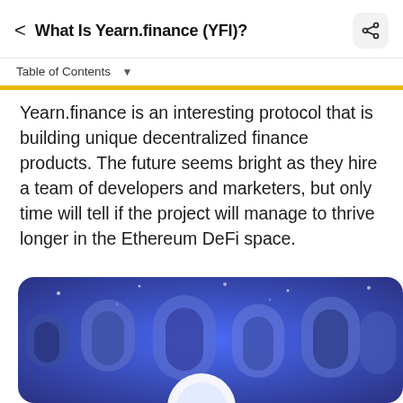What Is Yearn.finance (YFI)?
Table of Contents
Yearn.finance is an interesting protocol that is building unique decentralized finance products. The future seems bright as they hire a team of developers and marketers, but only time will tell if the project will manage to thrive longer in the Ethereum DeFi space.
[Figure (illustration): Decorative illustration with blue/purple background showing arch shapes and circular forms, partial view of a YFI token or character at bottom of page]